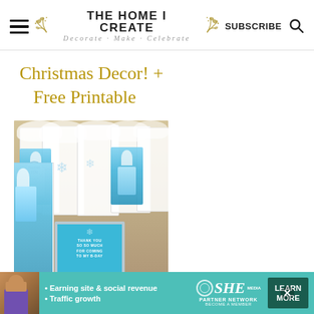THE HOME I CREATE — Decorate · Make · Celebrate — SUBSCRIBE
Christmas Decor! + Free Printable
[Figure (photo): Frozen-themed white gift bags with Elsa character images, tissue paper, blue snowflake tags, and a blue framed thank-you sign.]
[Figure (infographic): SHE Partner Network advertisement banner: Earning site & social revenue, Traffic growth, LEARN MORE button.]